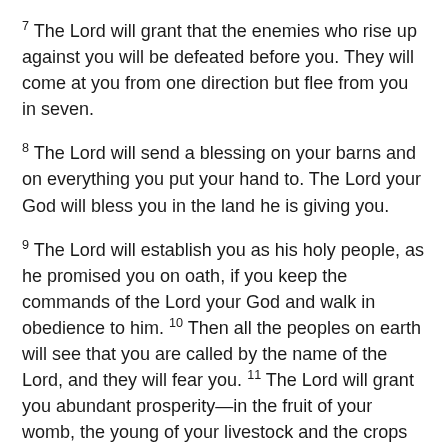7 The Lord will grant that the enemies who rise up against you will be defeated before you. They will come at you from one direction but flee from you in seven.
8 The Lord will send a blessing on your barns and on everything you put your hand to. The Lord your God will bless you in the land he is giving you.
9 The Lord will establish you as his holy people, as he promised you on oath, if you keep the commands of the Lord your God and walk in obedience to him. 10 Then all the peoples on earth will see that you are called by the name of the Lord, and they will fear you. 11 The Lord will grant you abundant prosperity—in the fruit of your womb, the young of your livestock and the crops of your ground—in the land he swore to your ancestors to give you.